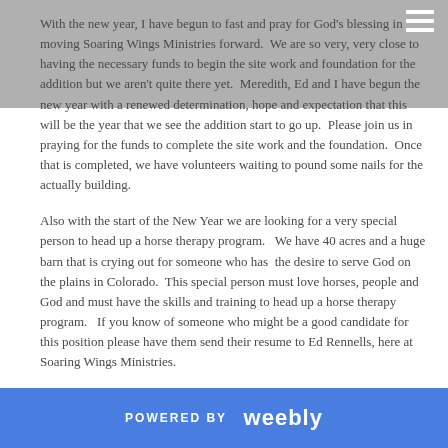With the new year, I have begun to fast and pray for God's blessing in moving Soaring Wings Ministries forward.  We are so very, very close to having the necessary funds to begin the site work and foundation for the addition but we aren't quite there yet.  Meredith, Ed and I have begun the new year with a renewed determination, hope and expectation that this will be the year that we see the addition start to go up.  Please join us in praying for the funds to complete the site work and the foundation.  Once that is completed, we have volunteers waiting to pound some nails for the actually building.
Also with the start of the New Year we are looking for a very special person to head up a horse therapy program.   We have 40 acres and a huge barn that is crying out for someone who has  the desire to serve God on the plains in Colorado.  This special person must love horses, people and God and must have the skills and training to head up a horse therapy program.   If you know of someone who might be a good candidate for this position please have them send their resume to Ed Rennells, here at Soaring Wings Ministries.
We continue to reach out to the homeless through Blessings Bags and as always the homeless are so very grateful for what we give them.  We will begin to resume serving donuts and coffee in the homeless park in the spring.
POWERED BY weebly